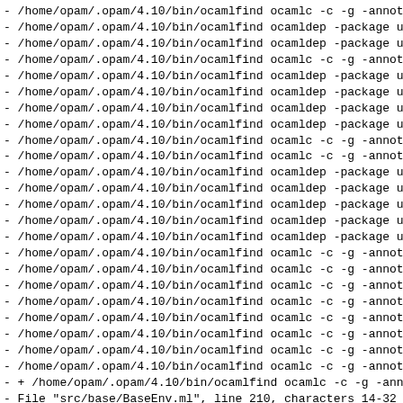- /home/opam/.opam/4.10/bin/ocamlfind ocamlc -c -g -annot
- /home/opam/.opam/4.10/bin/ocamlfind ocamldep -package u
- /home/opam/.opam/4.10/bin/ocamlfind ocamldep -package u
- /home/opam/.opam/4.10/bin/ocamlfind ocamlc -c -g -annot
- /home/opam/.opam/4.10/bin/ocamlfind ocamldep -package u
- /home/opam/.opam/4.10/bin/ocamlfind ocamldep -package u
- /home/opam/.opam/4.10/bin/ocamlfind ocamldep -package u
- /home/opam/.opam/4.10/bin/ocamlfind ocamldep -package u
- /home/opam/.opam/4.10/bin/ocamlfind ocamlc -c -g -annot
- /home/opam/.opam/4.10/bin/ocamlfind ocamlc -c -g -annot
- /home/opam/.opam/4.10/bin/ocamlfind ocamldep -package u
- /home/opam/.opam/4.10/bin/ocamlfind ocamldep -package u
- /home/opam/.opam/4.10/bin/ocamlfind ocamldep -package u
- /home/opam/.opam/4.10/bin/ocamlfind ocamldep -package u
- /home/opam/.opam/4.10/bin/ocamlfind ocamldep -package u
- /home/opam/.opam/4.10/bin/ocamlfind ocamlc -c -g -annot
- /home/opam/.opam/4.10/bin/ocamlfind ocamlc -c -g -annot
- /home/opam/.opam/4.10/bin/ocamlfind ocamlc -c -g -annot
- /home/opam/.opam/4.10/bin/ocamlfind ocamlc -c -g -annot
- /home/opam/.opam/4.10/bin/ocamlfind ocamlc -c -g -annot
- /home/opam/.opam/4.10/bin/ocamlfind ocamlc -c -g -annot
- /home/opam/.opam/4.10/bin/ocamlfind ocamlc -c -g -annot
- /home/opam/.opam/4.10/bin/ocamlfind ocamlc -c -g -annot
- + /home/opam/.opam/4.10/bin/ocamlfind ocamlc -c -g -ann
- File "src/base/BaseEnv.ml", line 210, characters 14-32
- 210 |              Pervasives.compare o2 o1)
-                   ^^^^^^^^^^^^^^^^^
- Alert deprecated: module Stdlib.Pervasives
- Use Stdlib instead.
-